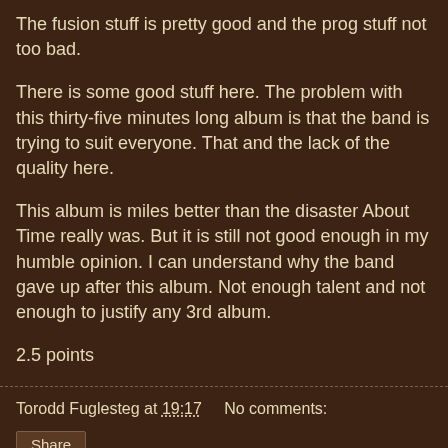The fusion stuff is pretty good and the prog stuff not too bad.
There is some good stuff here. The problem with this thirty-five minutes long album is that the band is trying to suit everyone. That and the lack of the quality here.
This album is miles better than the disaster About Time really was. But it is still not good enough in my humble opinion. I can understand why the band gave up after this album. Not enough talent and not enough to justify any 3rd album.
2.5 points
Torodd Fuglesteg at 19:17    No comments:
Share